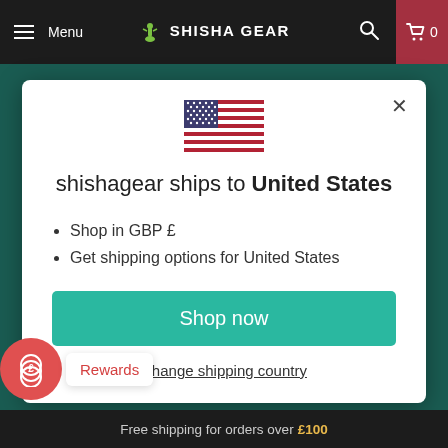Menu | SHISHA GEAR | 0
[Figure (illustration): US flag icon centered in modal dialog]
shishagear ships to United States
Shop in GBP £
Get shipping options for United States
Shop now
Change shipping country
Rewards
Free shipping for orders over £100